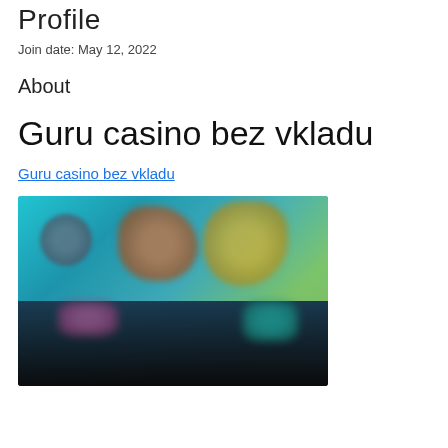Profile
Join date: May 12, 2022
About
Guru casino bez vkladu
Guru casino bez vkladu
[Figure (photo): Blurred screenshot of an online casino interface showing colorful game thumbnails on a dark teal/dark background]